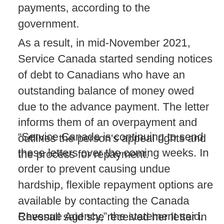payments, according to the government.
As a result, in mid-November 2021, Service Canada started sending notices of debt to Canadians who have an outstanding balance of money owed due to the advance payment. The letter informs them of an overpayment and outlines the person’s appeal rights and the process for repayment.
“Service Canada is continuing to send these letters over the coming weeks. In order to prevent causing undue hardship, flexible repayment options are available by contacting the Canada Revenue Agency,” the statement said.
Chessall said she received her letter in the mail